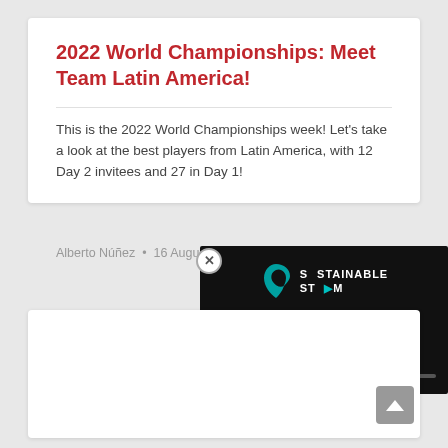2022 World Championships: Meet Team Latin America!
This is the 2022 World Championships week! Let's take a look at the best players from Latin America, with 12 Day 2 invitees and 27 in Day 1!
Alberto Núñez · 16 August, 2022
[Figure (screenshot): Video player overlay showing 'Sustainable Steam' logo with a play button and progress bar on a dark background]
[Figure (other): Scroll-to-top button (chevron up arrow on gray background)]